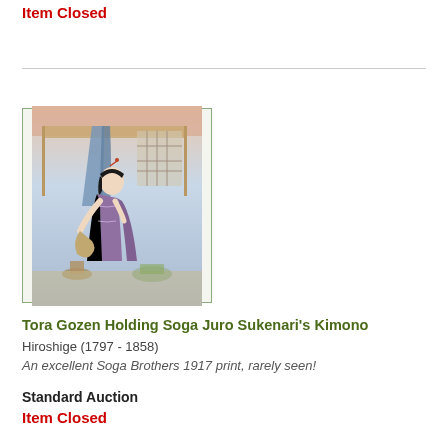Item Closed
[Figure (illustration): Japanese woodblock print showing a woman in kimono holding fabric, indoor scene with decorative elements]
Tora Gozen Holding Soga Juro Sukenari's Kimono
Hiroshige (1797 - 1858)
An excellent Soga Brothers 1917 print, rarely seen!
Standard Auction
Item Closed
[Figure (illustration): Japanese woodblock print landscape, partial view at bottom of page]